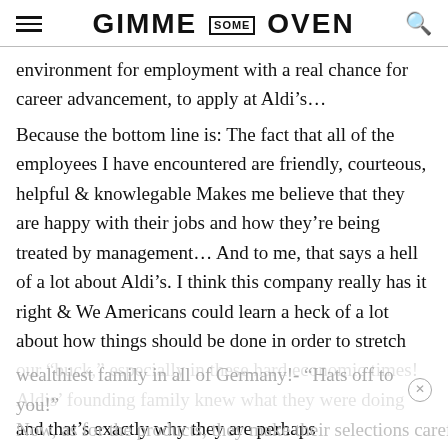GIMME SOME OVEN
environment for employment with a real chance for career advancement, to apply at Aldi's...
Because the bottom line is: The fact that all of the employees I have encountered are friendly, courteous, helpful & knowlegable Makes me believe that they are happy with their jobs and how they're being treated by management... And to me, that says a hell of a lot about Aldi's. I think this company really has it right & We Americans could learn a heck of a lot about how things should be done in order to stretch our “buck,” especially in these hard economic times!   Aldis’ founding family knew what they were doing and that’s exactly why they are perhaps
wealthiest family in all of Germany!- “Hats off to you!”
Now, as for the products, they make their selections carefully...